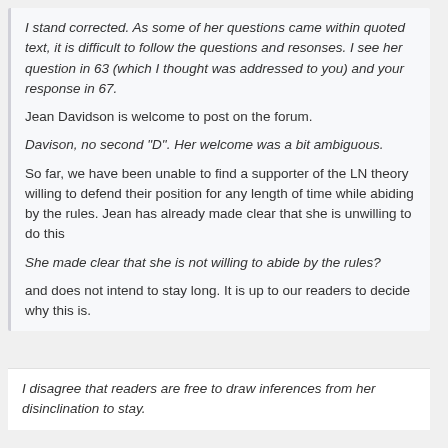I stand corrected. As some of her questions came within quoted text, it is difficult to follow the questions and resonses. I see her question in 63 (which I thought was addressed to you) and your response in 67.
Jean Davidson is welcome to post on the forum.
Davison, no second "D". Her welcome was a bit ambiguous.
So far, we have been unable to find a supporter of the LN theory willing to defend their position for any length of time while abiding by the rules. Jean has already made clear that she is unwilling to do this
She made clear that she is not willing to abide by the rules?
and does not intend to stay long. It is up to our readers to decide why this is.
I disagree that readers are free to draw inferences from her disinclination to stay.